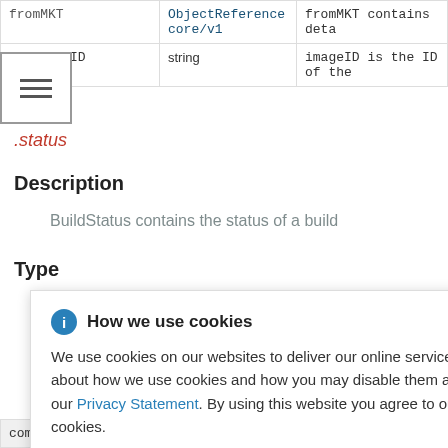| fromMKT | ObjectReference core/v1 | fromMKT contains deta... |
| --- | --- | --- |
| imageID | string | imageID is the ID of the... |
.status
Description
BuildStatus contains the status of a build
Type
object
How we use cookies

We use cookies on our websites to deliver our online services. Details about how we use cookies and how you may disable them are set out in our Privacy Statement. By using this website you agree to our use of cookies.
| completionTimestamp | Time meta/v1 | C... |
| --- | --- | --- |
| completionTimestamp | Time meta/v1 | C |